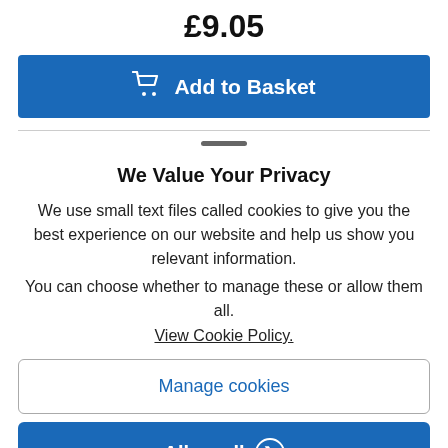£9.05
[Figure (other): Add to Basket button with shopping cart icon, blue background]
We Value Your Privacy
We use small text files called cookies to give you the best experience on our website and help us show you relevant information.
You can choose whether to manage these or allow them all.
View Cookie Policy.
Manage cookies
Allow all